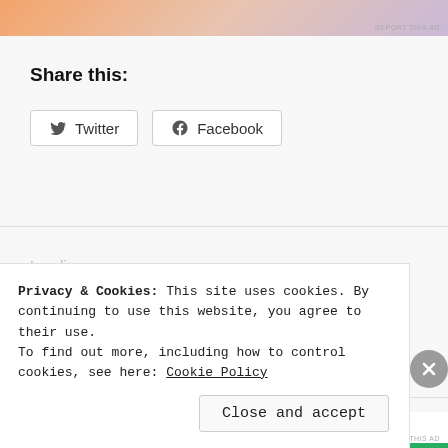[Figure (illustration): Top ad banner with orange/pink/purple gradient background]
REPORT THIS AD
Share this:
Twitter
Facebook
Loading…
Privacy & Cookies: This site uses cookies. By continuing to use this website, you agree to their use.
To find out more, including how to control cookies, see here: Cookie Policy
Close and accept